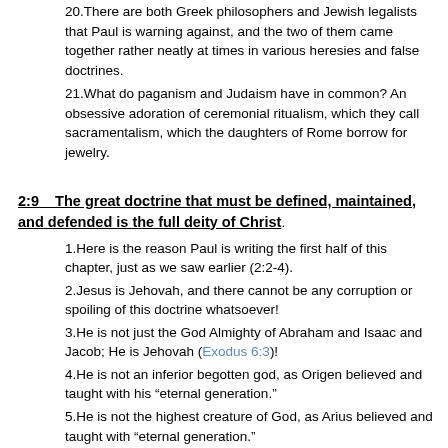20. There are both Greek philosophers and Jewish legalists that Paul is warning against, and the two of them came together rather neatly at times in various heresies and false doctrines.
21. What do paganism and Judaism have in common? An obsessive adoration of ceremonial ritualism, which they call sacramentalism, which the daughters of Rome borrow for jewelry.
2:9   The great doctrine that must be defined, maintained, and defended is the full deity of Christ.
1. Here is the reason Paul is writing the first half of this chapter, just as we saw earlier (2:2-4).
2. Jesus is Jehovah, and there cannot be any corruption or spoiling of this doctrine whatsoever!
3. He is not just the God Almighty of Abraham and Isaac and Jacob; He is Jehovah (Exodus 6:3)!
4. He is not an inferior begotten god, as Origen believed and taught with his “eternal generation.”
5. He is not the highest creature of God, as Arius believed and taught with “eternal generation.”